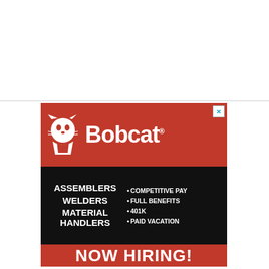[Figure (illustration): Bobcat company job advertisement. Red top section with Bobcat logo (white bobcat icon and 'Bobcat' wordmark). Black middle section listing jobs: ASSEMBLERS, WELDERS, MATERIAL HANDLERS on the left; bullet points COMPETITIVE PAY, FULL BENEFITS, 401K, PAID VACATION on the right. Red bottom banner reading NOW HIRING!]